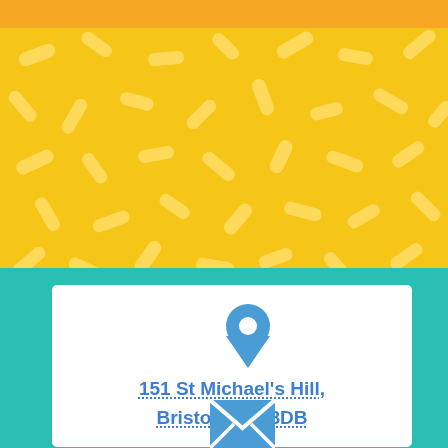[Figure (illustration): Colorful decorative page with orange top bar, yellow sprinkle pattern background, teal panel, and white contact info cards. First card shows a blue map pin icon and address '151 St Michael's Hill, Bristol, BS2 8DB'. Second card shows a blue envelope icon (partially visible).]
151 St Michael's Hill, Bristol, BS2 8DB